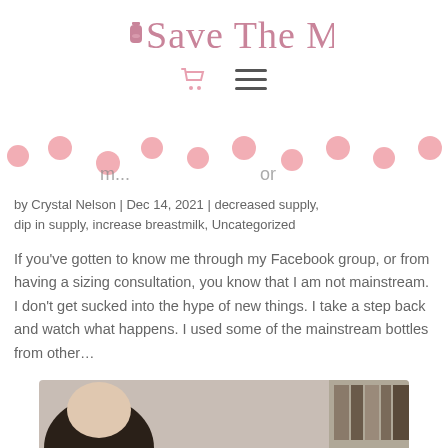Save The Milk
[Figure (logo): Save The Milk cursive logo with small bottle icon in pink]
[Figure (infographic): Decorative scalloped banner with pink polka dots, partially overlaying article title text]
by Crystal Nelson | Dec 14, 2021 | decreased supply, dip in supply, increase breastmilk, Uncategorized
If you've gotten to know me through my Facebook group, or from having a sizing consultation, you know that I am not mainstream. I don't get sucked into the hype of new things. I take a step back and watch what happens. I used some of the mainstream bottles from other...
[Figure (photo): Partially visible photo at the bottom of the page showing a person]